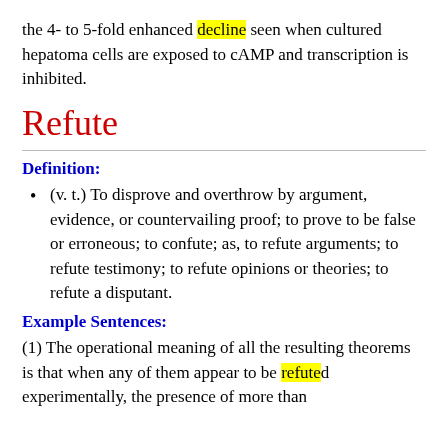the 4- to 5-fold enhanced decline seen when cultured hepatoma cells are exposed to cAMP and transcription is inhibited.
Refute
Definition:
(v. t.) To disprove and overthrow by argument, evidence, or countervailing proof; to prove to be false or erroneous; to confute; as, to refute arguments; to refute testimony; to refute opinions or theories; to refute a disputant.
Example Sentences:
(1) The operational meaning of all the resulting theorems is that when any of them appear to be refuted experimentally, the presence of more than